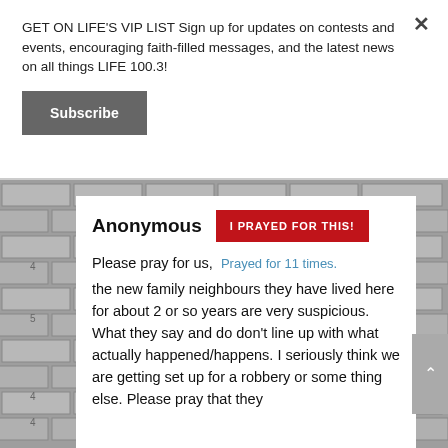GET ON LIFE'S VIP LIST Sign up for updates on contests and events, encouraging faith-filled messages, and the latest news on all things LIFE 100.3!
Subscribe
Anonymous
I PRAYED FOR THIS!
Please pray for us,  Prayed for 11 times.  the new family neighbours they have lived here for about 2 or so years are very suspicious. What they say and do don't line up with what actually happened/happens. I seriously think we are getting set up for a robbery or some thing else. Please pray that they